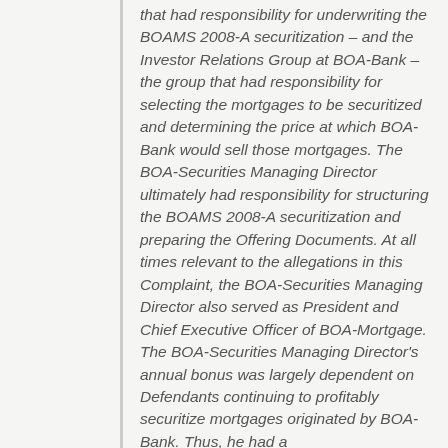that had responsibility for underwriting the BOAMS 2008-A securitization – and the Investor Relations Group at BOA-Bank – the group that had responsibility for selecting the mortgages to be securitized and determining the price at which BOA-Bank would sell those mortgages. The BOA-Securities Managing Director ultimately had responsibility for structuring the BOAMS 2008-A securitization and preparing the Offering Documents. At all times relevant to the allegations in this Complaint, the BOA-Securities Managing Director also served as President and Chief Executive Officer of BOA-Mortgage. The BOA-Securities Managing Director's annual bonus was largely dependent on Defendants continuing to profitably securitize mortgages originated by BOA-Bank. Thus, he had a